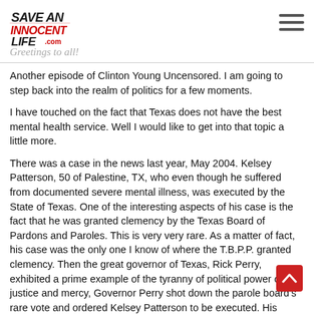Save An Innocent Life .com — Greetings to all!
Another episode of Clinton Young Uncensored. I am going to step back into the realm of politics for a few moments.
I have touched on the fact that Texas does not have the best mental health service. Well I would like to get into that topic a little more.
There was a case in the news last year, May 2004. Kelsey Patterson, 50 of Palestine, TX, who even though he suffered from documented severe mental illness, was executed by the State of Texas. One of the interesting aspects of his case is the fact that he was granted clemency by the Texas Board of Pardons and Paroles. This is very very rare. As a matter of fact, his case was the only one I know of where the T.B.P.P. granted clemency. Then the great governor of Texas, Rick Perry, exhibited a prime example of the tyranny of political power over justice and mercy, Governor Perry shot down the parole board's rare vote and ordered Kelsey Patterson to be executed. His reason for doing so was that Texas did not at the time have life without parole. Now the real interesting thing about Perry's